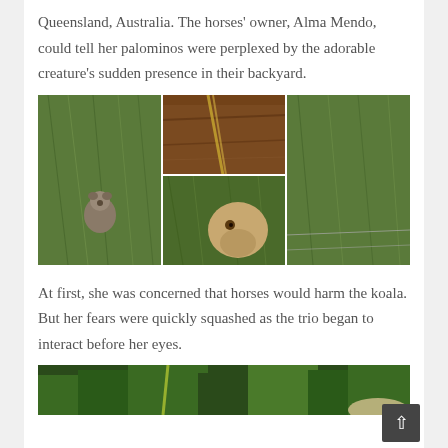Queensland, Australia. The horses' owner, Alma Mendo, could tell her palominos were perplexed by the adorable creature's sudden presence in their backyard.
[Figure (photo): Collage of three outdoor photos showing grass, a wooden fence/board, a koala on the ground, and a palomino horse's face peering through grass and wire fence.]
At first, she was concerned that horses would harm the koala. But her fears were quickly squashed as the trio began to interact before her eyes.
[Figure (photo): Partial photo visible at bottom of page showing trees and what appears to be a light-colored animal, partially cropped.]